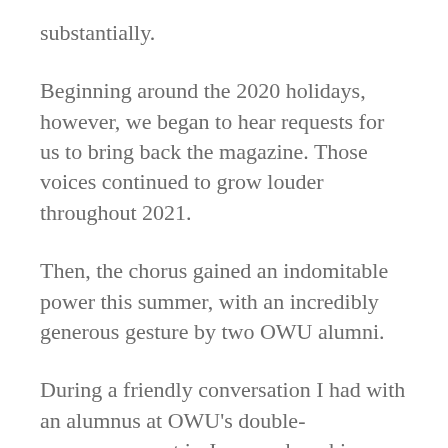substantially.
Beginning around the 2020 holidays, however, we began to hear requests for us to bring back the magazine. Those voices continued to grow louder throughout 2021.
Then, the chorus gained an indomitable power this summer, with an incredibly generous gesture by two OWU alumni.
During a friendly conversation I had with an alumnus at OWU's double-commencement in June—where his